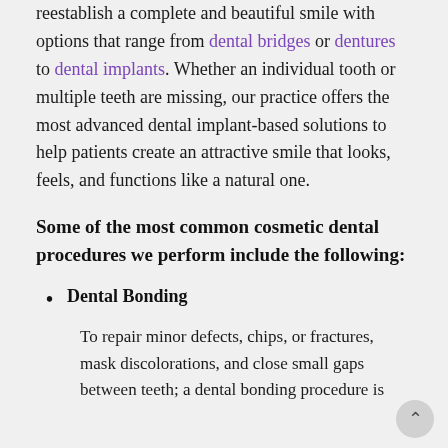reestablish a complete and beautiful smile with options that range from dental bridges or dentures to dental implants. Whether an individual tooth or multiple teeth are missing, our practice offers the most advanced dental implant-based solutions to help patients create an attractive smile that looks, feels, and functions like a natural one.
Some of the most common cosmetic dental procedures we perform include the following:
Dental Bonding
To repair minor defects, chips, or fractures, mask discolorations, and close small gaps between teeth; a dental bonding procedure is